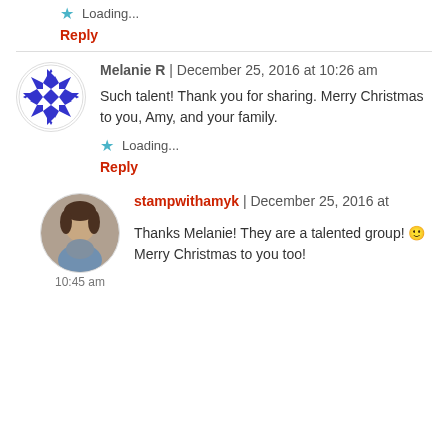Loading...
Reply
Melanie R | December 25, 2016 at 10:26 am
Such talent! Thank you for sharing. Merry Christmas to you, Amy, and your family.
Loading...
Reply
[Figure (photo): Avatar photo of stampwithamyk, a woman]
stampwithamyk | December 25, 2016 at 10:45 am
Thanks Melanie! They are a talented group! 🙂 Merry Christmas to you too!